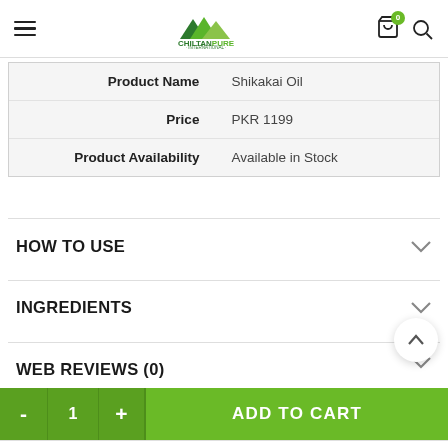Chiltan Pure International
|  |  |
| --- | --- |
| Product Name | Shikakai Oil |
| Price | PKR 1199 |
| Product Availability | Available in Stock |
HOW TO USE
INGREDIENTS
WEB REVIEWS (0)
- 1 + ADD TO CART
Home  Categories  Ingredients  My account